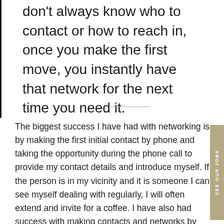don't always know who to contact or how to reach in, once you make the first move, you instantly have that network for the next time you need it.
The biggest success I have had with networking is by making the first initial contact by phone and taking the opportunity during the phone call to provide my contact details and introduce myself. If the person is in my vicinity and it is someone I can see myself dealing with regularly, I will often extend and invite for a coffee. I have also had success with making contacts and networks by attending conferences where I can.